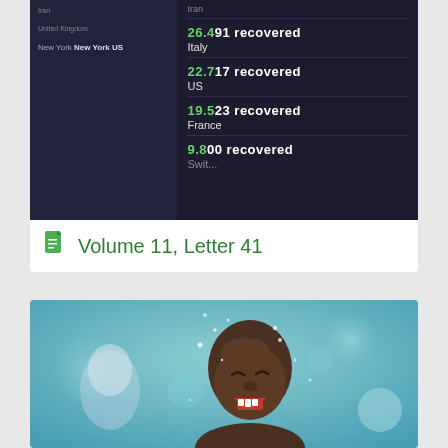[Figure (screenshot): Screenshot of a COVID-19 recovery tracking dashboard showing dark background with country recovery statistics: 26,491 recovered (Italy), 22,717 recovered (US), 19,523 recovered (France), 9,800 recovered (Switzerland partial). Left side shows blurred location entries including New York US.]
Volume 11, Letter 41
[Figure (photo): Photo of a young child laughing and playing in water, getting splashed. The child appears joyful with water droplets visible around them. Another child is visible blurred in the background.]